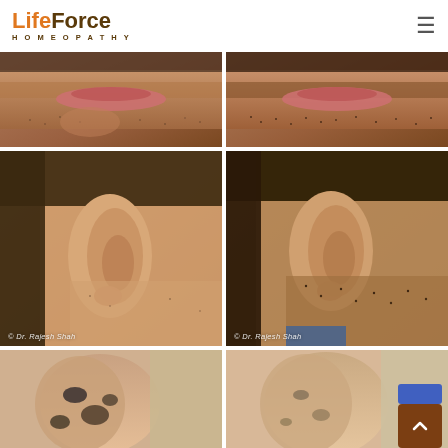[Figure (logo): LifeForce Homeopathy logo with orange and dark brown text, hamburger menu icon on right]
[Figure (photo): Before photo: close-up of lower face/mouth area showing skin condition with hair loss/alopecia around beard area]
[Figure (photo): After photo: close-up of lower face/mouth area showing improved skin condition with hair regrowth in beard area]
[Figure (photo): Before photo: side view of ear and cheek showing alopecia areata - bald patch near ear. Watermark: © Dr. Rajesh Shah]
[Figure (photo): After photo: side view of ear and cheek showing hair regrowth after homeopathy treatment. Watermark: © Dr. Rajesh Shah]
[Figure (photo): Before photo: arm/leg showing dark skin lesions or spots]
[Figure (photo): After photo: arm/leg showing improvement in skin lesions after treatment, with partial blue tab and scroll button visible]